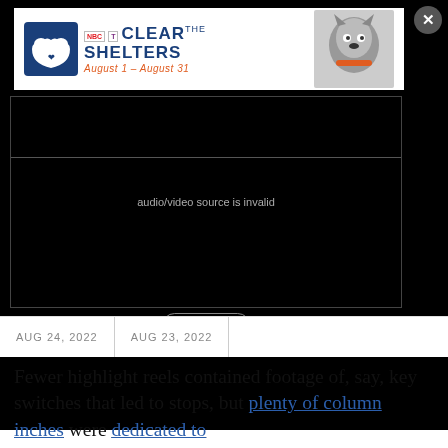[Figure (screenshot): Dark overlay modal with ad banner at top showing 'Clear the Shelters August 1 - August 31' with NBC/Telemundo logo and husky dog image, and a video player below showing 'audio/video source is invalid' error with a Close button. An X button appears top right.]
AUG 24, 2022
AUG 23, 2022
Fewer highlight reels contained footage of, say, key switches that led to stops, but plenty of column inches were dedicated to